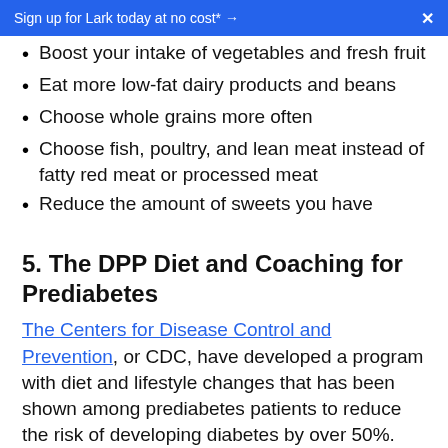Sign up for Lark today at no cost* →  ✕
Boost your intake of vegetables and fresh fruit
Eat more low-fat dairy products and beans
Choose whole grains more often
Choose fish, poultry, and lean meat instead of fatty red meat or processed meat
Reduce the amount of sweets you have
5. The DPP Diet and Coaching for Prediabetes
The Centers for Disease Control and Prevention, or CDC, have developed a program with diet and lifestyle changes that has been shown among prediabetes patients to reduce the risk of developing diabetes by over 50%. This program is